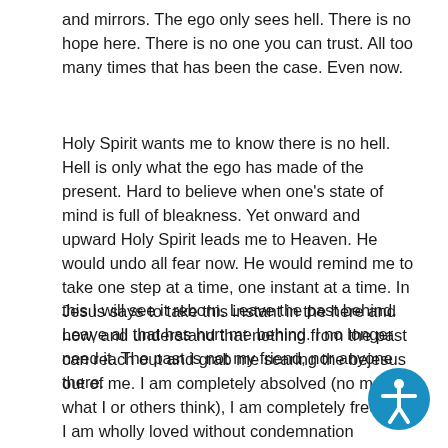and mirrors. The ego only sees hell. There is no hope here. There is no one you can trust. All too many times that has been the case. Even now.
Holy Spirit wants me to know there is no hell. Hell is only what the ego has made of the present. Hard to believe when one's state of mind is full of bleakness. Yet onward and upward Holy Spirit leads me to Heaven. He would undo all fear now. He would remind me to take one step at a time, one instant at a time. In this I will see it reborn. Leave the past behind. Leave all that has hurt me behind. I no longer need it. The past is not my friend, nor anyone there.
Jesus says to take this instant in the here and now, and understand that nothing from the past can reach out and grab me scaring the bejesus out of me. I am completely absolved (no matter what I or others think), I am completely free, and I am wholly loved without condemnation whatsoever. Any condemnation comes from my own mind. From anyone else, that is their own mind to solve.
[Figure (illustration): Blue circular accessibility icon with white person figure with arms outstretched, located in bottom-right corner]